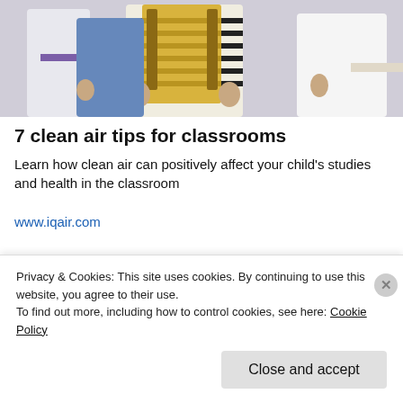[Figure (photo): Photo of children/students standing together, partially cropped, showing torsos and hands, wearing casual clothes including a striped shirt and yellow vest]
7 clean air tips for classrooms
Learn how clean air can positively affect your child's studies and health in the classroom
www.iqair.com
[Figure (photo): Partial photo of beige/cream colored furniture (appears to be a sofa or recliner chairs) partially visible at bottom of page]
Privacy & Cookies: This site uses cookies. By continuing to use this website, you agree to their use.
To find out more, including how to control cookies, see here: Cookie Policy
Close and accept